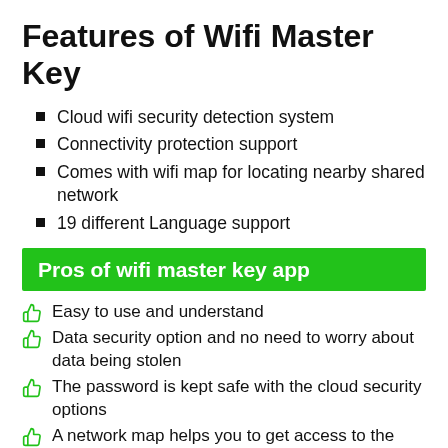Features of Wifi Master Key
Cloud wifi security detection system
Connectivity protection support
Comes with wifi map for locating nearby shared network
19 different Language support
Pros of wifi master key app
Easy to use and understand
Data security option and no need to worry about data being stolen
The password is kept safe with the cloud security options
A network map helps you to get access to the